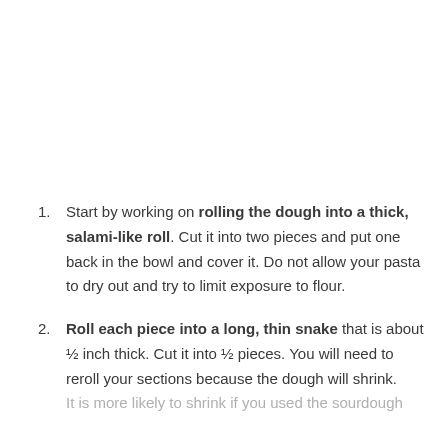Start by working on rolling the dough into a thick, salami-like roll. Cut it into two pieces and put one back in the bowl and cover it. Do not allow your pasta to dry out and try to limit exposure to flour.
Roll each piece into a long, thin snake that is about ½ inch thick. Cut it into ½ pieces. You will need to reroll your sections because the dough will shrink. It is more likely to shrink if you used the sourdough